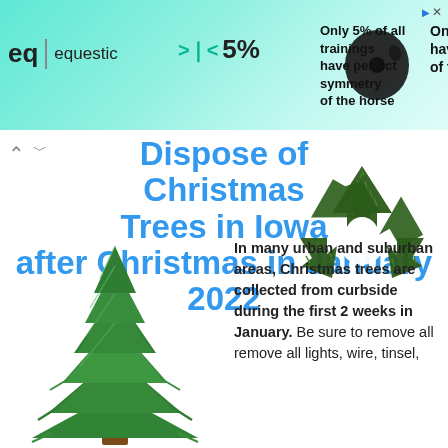equestic | 5% — Only 5% of all trainings have perfect symmetry of the horse
Dispose of Christmas Trees in Iowa after Christmas in January 2022
[Figure (illustration): Recycling symbol made from green leaves/foliage]
[Figure (photo): Green Christmas tree illustration]
In many urban and suburban areas, Christmas trees are collected from curbside during the first 2 weeks in January. Be sure to remove all remove all lights, wire, tinsel,